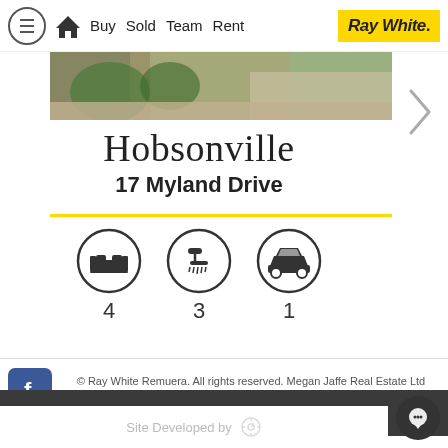Buy  Sold  Team  Rent  Ray White.
[Figure (photo): Partial outdoor/garden property photo strip]
Hobsonville
17 Myland Drive
[Figure (infographic): Property icons: bed (4), shower (3), car garage (1)]
© Ray White Remuera. All rights reserved. Megan Jaffe Real Estate Ltd Licensed (REAA 2008)
BACK TO THE TOP
Site Developed by